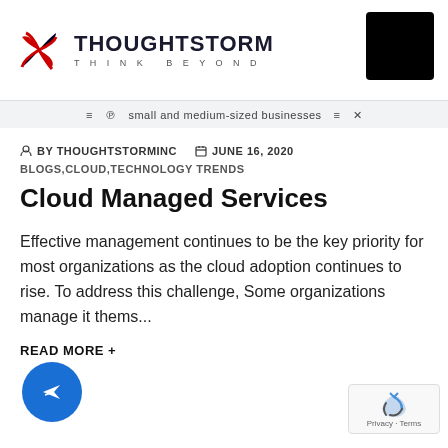THOUGHTSTORM THINK BEYOND
small and medium-sized businesses
BY THOUGHTSTORMINC   JUNE 16, 2020
BLOGS,CLOUD,TECHNOLOGY TRENDS
Cloud Managed Services
Effective management continues to be the key priority for most organizations as the cloud adoption continues to rise. To address this challenge, Some organizations manage it thems...
READ MORE +